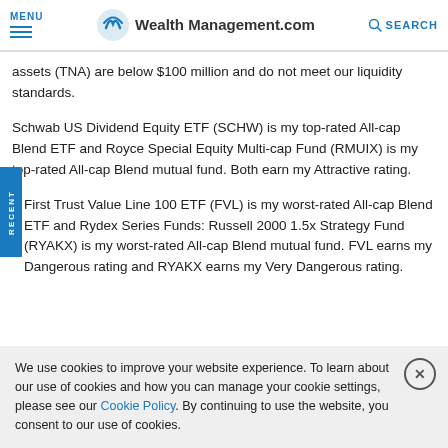MENU | WealthManagement.com | SEARCH
assets (TNA) are below $100 million and do not meet our liquidity standards.
Schwab US Dividend Equity ETF (SCHW) is my top-rated All-cap Blend ETF and Royce Special Equity Multi-cap Fund (RMUIX) is my top-rated All-cap Blend mutual fund. Both earn my Attractive rating.
First Trust Value Line 100 ETF (FVL) is my worst-rated All-cap Blend ETF and Rydex Series Funds: Russell 2000 1.5x Strategy Fund (RYAKX) is my worst-rated All-cap Blend mutual fund. FVL earns my Dangerous rating and RYAKX earns my Very Dangerous rating.
We use cookies to improve your website experience. To learn about our use of cookies and how you can manage your cookie settings, please see our Cookie Policy. By continuing to use the website, you consent to our use of cookies.